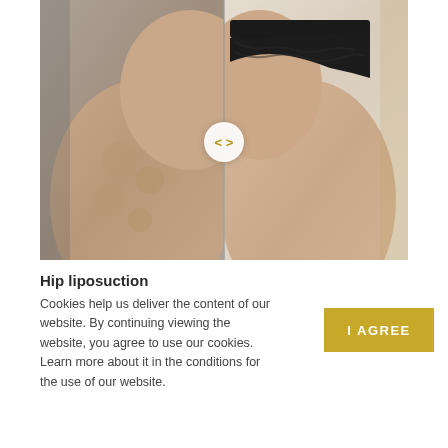[Figure (photo): Before and after comparison photo of hip liposuction. Left half shows before image with visible cellulite on thigh/hip area against gray background. Right half shows after image with smoother skin, patient wearing black lace underwear, against cream/beige background. A circular slider icon with left-right arrows (< >) divides the two images at center.]
Hip liposuction
Cookies help us deliver the content of our website. By continuing viewing the website, you agree to use our cookies. Learn more about it in the conditions for the use of our website.
I AGREE